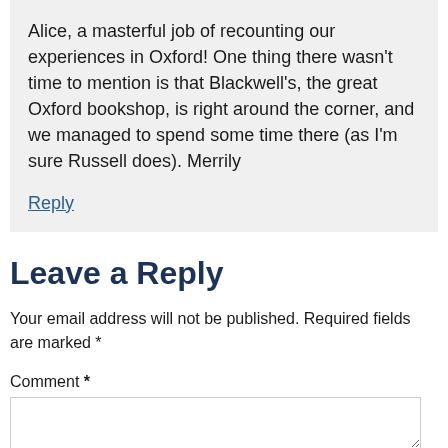Alice, a masterful job of recounting our experiences in Oxford! One thing there wasn't time to mention is that Blackwell's, the great Oxford bookshop, is right around the corner, and we managed to spend some time there (as I'm sure Russell does). Merrily
Reply
Leave a Reply
Your email address will not be published. Required fields are marked *
Comment *